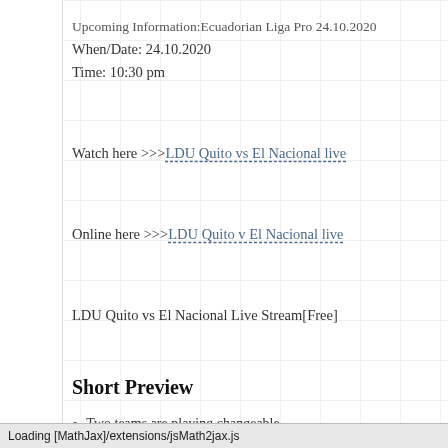Upcoming Information:Ecuadorian Liga Pro 24.10.2020
When/Date: 24.10.2020
Time: 10:30 pm
Watch here >>>LDU Quito vs El Nacional live
Online here >>>LDU Quito v El Nacional live
LDU Quito vs El Nacional Live Stream[Free]
Short Preview
Two teams are playing changeable.
El Nacional could have advantage in physics - more
Loading [MathJax]/extensions/jsMath2jax.js